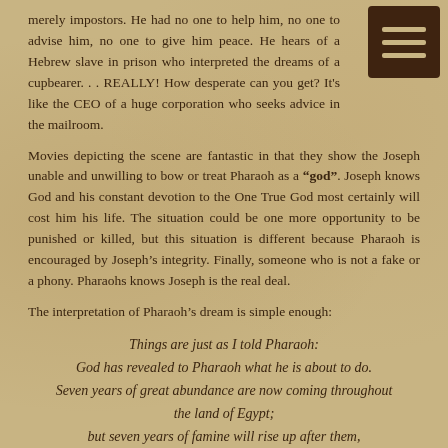merely impostors. He had no one to help him, no one to advise him, no one to give him peace. He hears of a Hebrew slave in prison who interpreted the dreams of a cupbearer. . . REALLY! How desperate can you get? It's like the CEO of a huge corporation who seeks advice in the mailroom.
Movies depicting the scene are fantastic in that they show the Joseph unable and unwilling to bow or treat Pharaoh as a “god”. Joseph knows God and his constant devotion to the One True God most certainly will cost him his life. The situation could be one more opportunity to be punished or killed, but this situation is different because Pharaoh is encouraged by Joseph’s integrity. Finally, someone who is not a fake or a phony. Pharaohs knows Joseph is the real deal.
The interpretation of Pharaoh’s dream is simple enough:
Things are just as I told Pharaoh:
God has revealed to Pharaoh what he is about to do.
Seven years of great abundance are now coming throughout the land of Egypt;
but seven years of famine will rise up after them,
when all the abundance will be forgotten in the land of